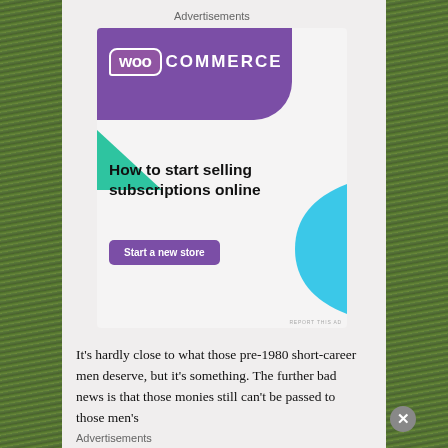Advertisements
[Figure (illustration): WooCommerce advertisement banner with purple header, green triangle shape, blue rounded shape on right. Text: 'How to start selling subscriptions online' with a purple 'Start a new store' button.]
It's hardly close to what those pre-1980 short-career men deserve, but it's something. The further bad news is that those monies still can't be passed to those men's
Advertisements